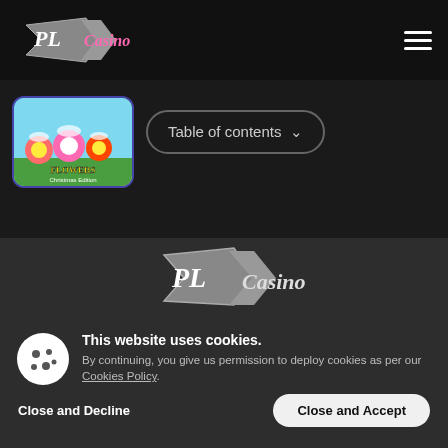[Figure (logo): PLCasino logo with arrow/lightning bolt shape in top navigation bar]
[Figure (screenshot): Flowers Christmas Edition game thumbnail - colorful cartoon flowers and birds]
Table of contents
[Figure (logo): PLCasino logo centered in footer area]
[Figure (illustration): Cookie icon - white circle with cookie dots]
This website uses cookies.
By continuing, you give us permission to deploy cookies as per our Cookies Policy.
Close and Decline
Close and Accept